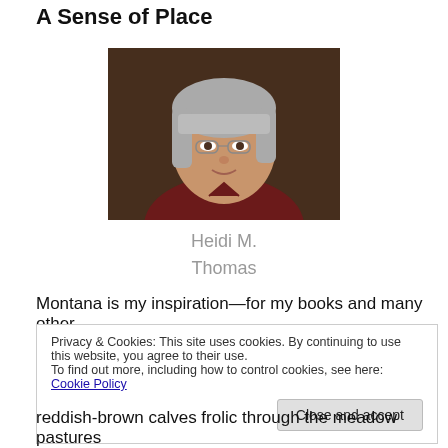A Sense of Place
[Figure (photo): Portrait photo of a middle-aged woman with short gray hair and bangs, wearing glasses and a dark red top, smiling slightly against a dark background.]
Heidi M. Thomas
Montana is my inspiration—for my books and many other
Privacy & Cookies: This site uses cookies. By continuing to use this website, you agree to their use. To find out more, including how to control cookies, see here: Cookie Policy
reddish-brown calves frolic through the meadow pastures